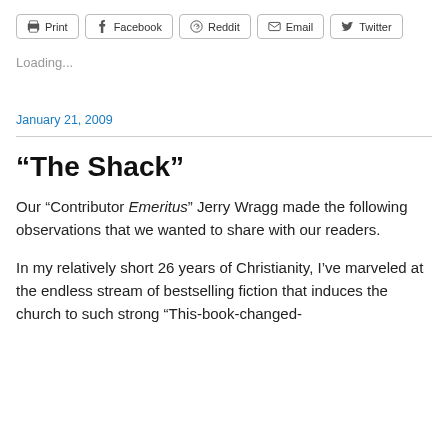Print | Facebook | Reddit | Email | Twitter
Loading...
January 21, 2009
“The Shack”
Our “Contributor Emeritus” Jerry Wragg made the following observations that we wanted to share with our readers.
In my relatively short 26 years of Christianity, I’ve marveled at the endless stream of bestselling fiction that induces the church to such strong “This-book-changed-